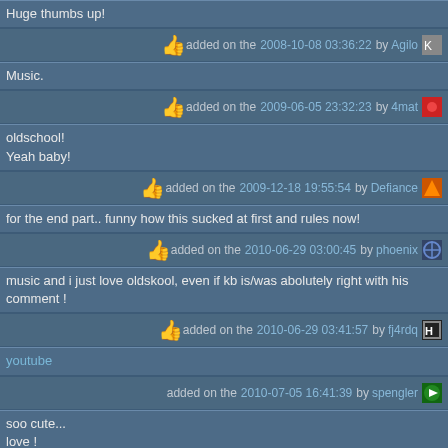Huge thumbs up!
added on the 2008-10-08 03:36:22 by Agilo
Music.
added on the 2009-06-05 23:32:23 by 4mat
oldschool!
Yeah baby!
added on the 2009-12-18 19:55:54 by Defiance
for the end part.. funny how this sucked at first and rules now!
added on the 2010-06-29 03:00:45 by phoenix
music and i just love oldskool, even if kb is/was abolutely right with his comment !
added on the 2010-06-29 03:41:57 by fj4rdq
youtube
added on the 2010-07-05 16:41:39 by spengler
soo cute...
love !
added on the 2010-07-05 16:57:06 by lsl
i liked it!
plz razor make more cool demos/cracktros!
i guess its up to you, rez!
added on the 2010-07-13 03:03:32 by wysiwtf
Spheres, greetz (including Triton :up:), music, classic style!
added on the 2012-01-05 14:58:59 by cxw
2012 and i still think this is Perfect
added on the 2012-03-02 23:32:59 by Blacksheep8Bit